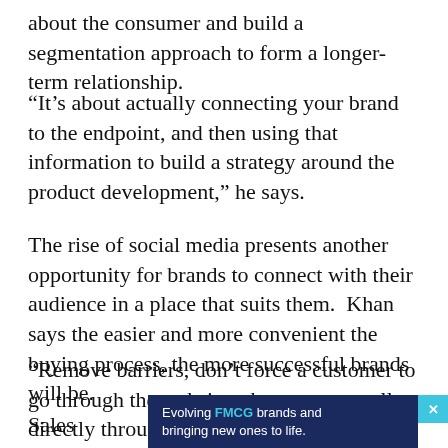about the consumer and build a segmentation approach to form a longer-term relationship.
“It’s about actually connecting your brand to the endpoint, and then using that information to build a strategy around the product development,” he says.
The rise of social media presents another opportunity for brands to connect with their audience in a place that suits them.  Khan says the easier and more convenient the buying process, the more successful brands will be.
“Remove barriers, don’t force a customer to go through the website when you can sell directly through a social media platform.”
Sales
[Figure (other): Advertisement banner with dark navy background reading 'Evolving FMCG brands and bringing new ones to life.' with FMCG highlighted in teal/cyan color. A teal close button with an 'x' appears to the right.]